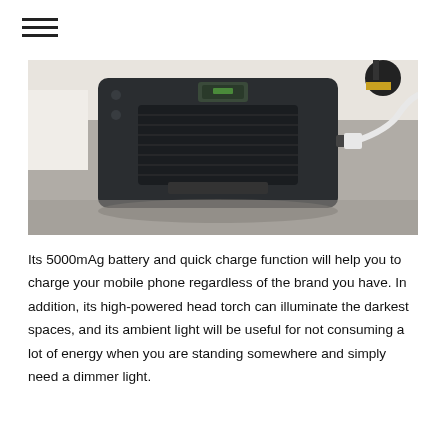[Figure (photo): A black rugged portable speaker/power bank device with a mesh grille, small display, and a white USB cable plugged in, resting on a grey fabric surface. A lamp or light fixture is visible in the upper right corner.]
Its 5000mAg battery and quick charge function will help you to charge your mobile phone regardless of the brand you have. In addition, its high-powered head torch can illuminate the darkest spaces, and its ambient light will be useful for not consuming a lot of energy when you are standing somewhere and simply need a dimmer light.